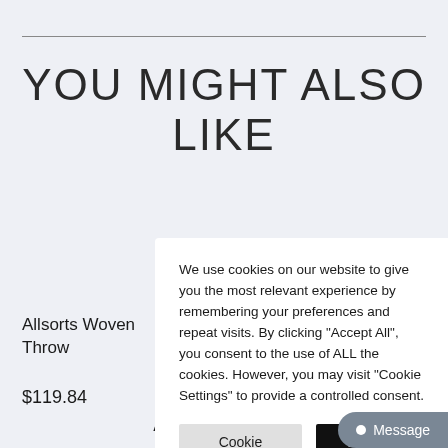YOU MIGHT ALSO LIKE
Allsorts Woven Throw
$119.84
We use cookies on our website to give you the most relevant experience by remembering your preferences and repeat visits. By clicking “Accept All”, you consent to the use of ALL the cookies. However, you may visit "Cookie Settings" to provide a controlled consent.
ADD TO BASKET +
Message